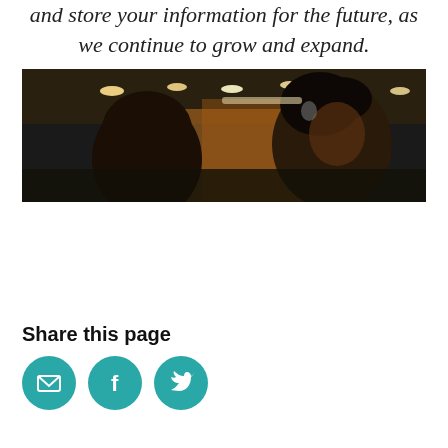and store your information for the future, as we continue to grow and expand.
[Figure (photo): Two people in a public indoor space, possibly a library or government building, with warm lighting and round ceiling lights visible in the background.]
Share this page
[Figure (infographic): Three teal circular social sharing icons: email (envelope), Facebook (f), and Twitter (bird).]